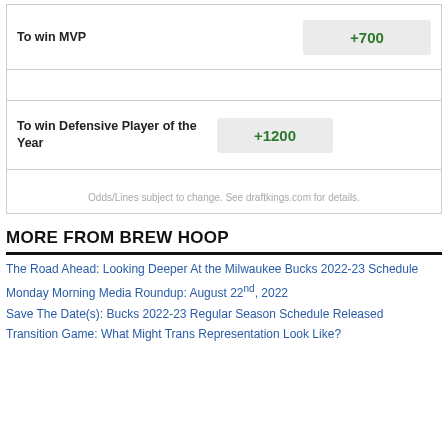| Bet Type | Odds |
| --- | --- |
| To win MVP | +700 |
| To win Defensive Player of the Year | +1200 |
Odds/Lines subject to change. See draftkings.com for details.
MORE FROM BREW HOOP
The Road Ahead: Looking Deeper At the Milwaukee Bucks 2022-23 Schedule
Monday Morning Media Roundup: August 22nd, 2022
Save The Date(s): Bucks 2022-23 Regular Season Schedule Released
Transition Game: What Might Trans Representation Look Like?